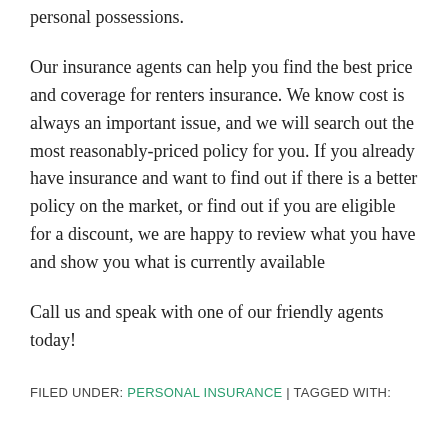personal possessions.
Our insurance agents can help you find the best price and coverage for renters insurance. We know cost is always an important issue, and we will search out the most reasonably-priced policy for you. If you already have insurance and want to find out if there is a better policy on the market, or find out if you are eligible for a discount, we are happy to review what you have and show you what is currently available
Call us and speak with one of our friendly agents today!
FILED UNDER: PERSONAL INSURANCE | TAGGED WITH: